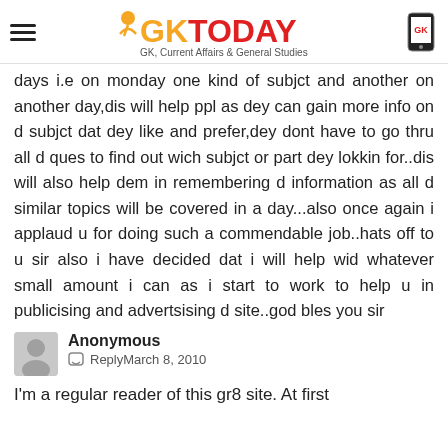GK TODAY — GK, Current Affairs & General Studies
days i.e on monday one kind of subjct and another on another day,dis will help ppl as dey can gain more info on d subjct dat dey like and prefer,dey dont have to go thru all d ques to find out wich subjct or part dey lokkin for..dis will also help dem in remembering d information as all d similar topics will be covered in a day...also once again i applaud u for doing such a commendable job..hats off to u sir also i have decided dat i will help wid whatever small amount i can as i start to work to help u in publicising and advertsising d site..god bles you sir
Anonymous
Reply March 8, 2010
I'm a regular reader of this gr8 site. At first